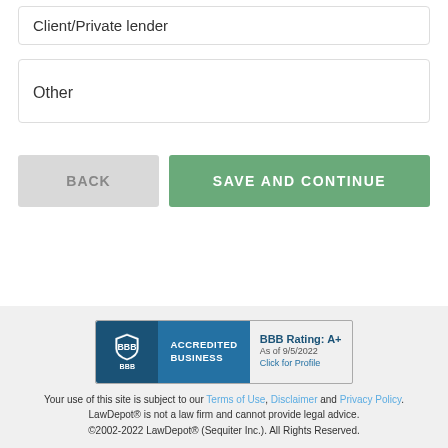Client/Private lender
Other
BACK
SAVE AND CONTINUE
[Figure (logo): BBB Accredited Business badge with rating A+ as of 9/5/2022, Click for Profile]
Your use of this site is subject to our Terms of Use, Disclaimer and Privacy Policy. LawDepot® is not a law firm and cannot provide legal advice. ©2002-2022 LawDepot® (Sequiter Inc.). All Rights Reserved.